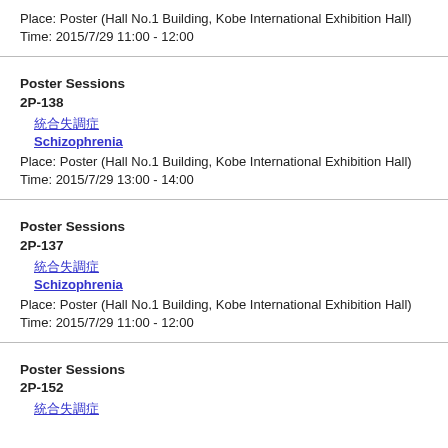Place: Poster (Hall No.1 Building, Kobe International Exhibition Hall)
Time: 2015/7/29 11:00 - 12:00
Poster Sessions
2P-138
統合失調症
Schizophrenia
Place: Poster (Hall No.1 Building, Kobe International Exhibition Hall)
Time: 2015/7/29 13:00 - 14:00
Poster Sessions
2P-137
統合失調症
Schizophrenia
Place: Poster (Hall No.1 Building, Kobe International Exhibition Hall)
Time: 2015/7/29 11:00 - 12:00
Poster Sessions
2P-152
統合失調症